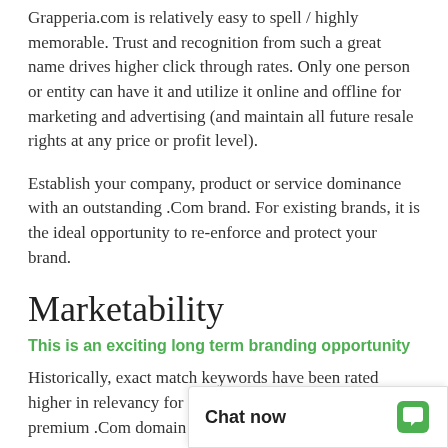Grapperia.com is relatively easy to spell / highly memorable. Trust and recognition from such a great name drives higher click through rates. Only one person or entity can have it and utilize it online and offline for marketing and advertising (and maintain all future resale rights at any price or profit level).
Establish your company, product or service dominance with an outstanding .Com brand. For existing brands, it is the ideal opportunity to re-enforce and protect your brand.
Marketability
This is an exciting long term branding opportunity
Historically, exact match keywords have been rated higher in relevancy for search engine ranking. A super-premium .Com domain from DomainMarket.com...
Chat now